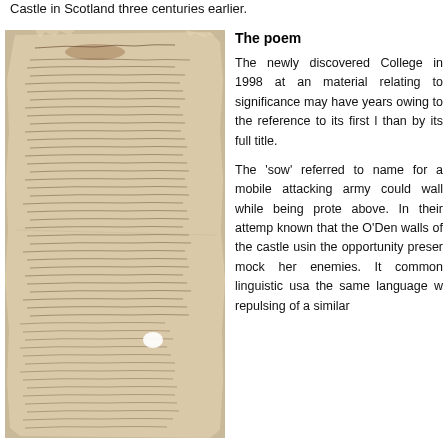Castle in Scotland three centuries earlier.
[Figure (photo): Photograph of an aged, handwritten manuscript page with cursive text, torn and damaged edges, on yellowed parchment paper.]
The poem
The newly discovered College in 1998 at an material relating to significance may have years owing to the reference to its first l than by its full title.
The 'sow' referred to name for a mobile attacking army could wall while being prote above. In their attemp known that the O'Den walls of the castle usin the opportunity preser mock her enemies. It common linguistic usa the same language w repulsing of a similar